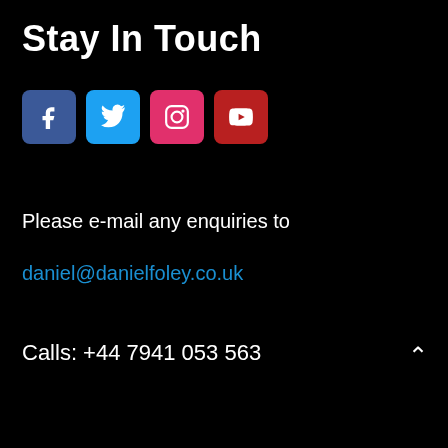Stay In Touch
[Figure (illustration): Four social media icon buttons in a row: Facebook (blue), Twitter (light blue), Instagram (pink/red), YouTube (dark red)]
Please e-mail any enquiries to
daniel@danielfoley.co.uk
Calls: +44 7941 053 563